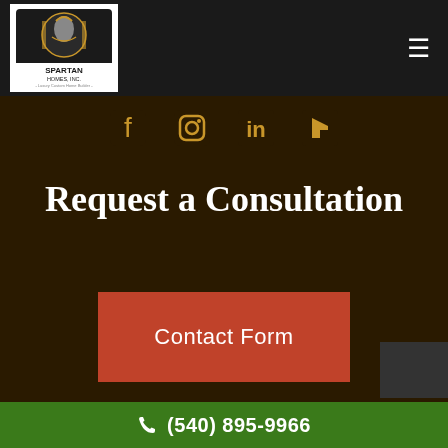[Figure (logo): Spartan Homes Inc. logo - Luxury Custom Home Builder, circular emblem with spartan warrior]
[Figure (infographic): Social media icons row: Facebook, Instagram, LinkedIn, Houzz - displayed in gold/orange color]
Request a Consultation
Contact Form
Disclaimer: Some images might not display correctly on Internet Explorer.
(540) 895-9966